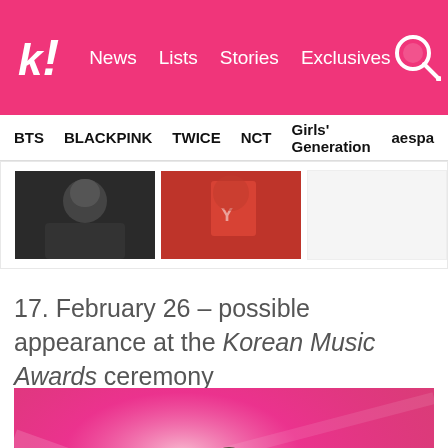k! News  Lists  Stories  Exclusives
BTS  BLACKPINK  TWICE  NCT  Girls' Generation  aespa
[Figure (photo): Two thumbnail images: left shows a person's face/neck in dark tones, right shows a person in a red outfit]
17. February 26 – possible appearance at the Korean Music Awards ceremony
[Figure (photo): Group of people (BTS members) in dark/black suits hugging on stage with a pink background, one holding red flowers]